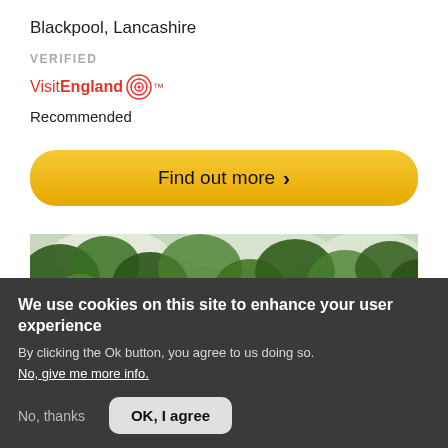Blackpool, Lancashire
VERIFIED
[Figure (logo): VisitEngland logo with target/bullseye icon]
Recommended
[Figure (other): Find out more button with chevron]
[Figure (photo): Tree canopy with green leaves against a bright sky]
We use cookies on this site to enhance your user experience
By clicking the Ok button, you agree to us doing so.
No, give me more info.
No, thanks
OK, I agree